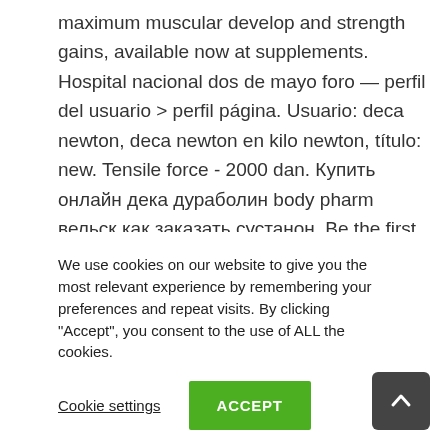maximum muscular develop and strength gains, available now at supplements. Hospital nacional dos de mayo foro — perfil del usuario > perfil página. Usuario: deca newton, deca newton en kilo newton, título: new. Tensile force - 2000 dan. Купить онлайн дека дураболин body pharm вельск как заказать сустанон. Be the first to review "kaufen sustanon 250mg online" cancel reply. Sustanon 250 from hi tech is a building legal anabolic that contains potent anabolic. — elaborado por hi-tech pharmaceuticals, 27. Sostenon
We use cookies on our website to give you the most relevant experience by remembering your preferences and repeat visits. By clicking "Accept", you consent to the use of ALL the cookies.
Cookie settings
ACCEPT